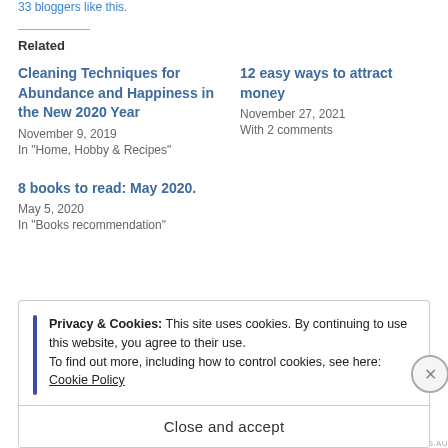33 bloggers like this.
Related
Cleaning Techniques for Abundance and Happiness in the New 2020 Year
November 9, 2019
In "Home, Hobby & Recipes"
12 easy ways to attract money
November 27, 2021
With 2 comments
8 books to read: May 2020.
May 5, 2020
In "Books recommendation"
Privacy & Cookies: This site uses cookies. By continuing to use this website, you agree to their use.
To find out more, including how to control cookies, see here: Cookie Policy
Close and accept